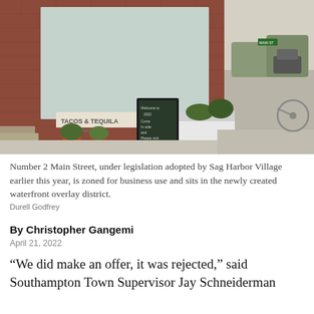[Figure (photo): Exterior photo of a brick building at Number 2 Main Street showing storefront windows with 'Tacos & Tequila' signage, a chalkboard sign on the sidewalk, planter boxes, potted plants, and a street scene with a bicycle visible on the right.]
Number 2 Main Street, under legislation adopted by Sag Harbor Village earlier this year, is zoned for business use and sits in the newly created waterfront overlay district.
Durell Godfrey
By Christopher Gangemi
April 21, 2022
“We did make an offer, it was rejected,” said Southampton Town Supervisor Jay Schneiderman